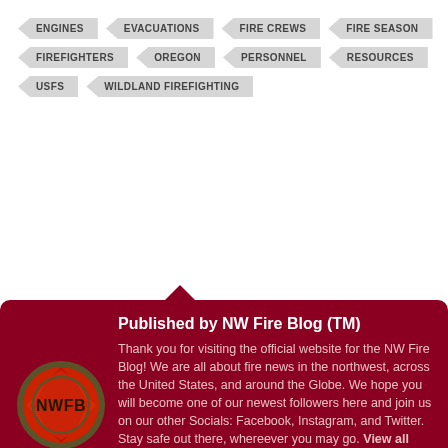ENGINES
EVACUATIONS
FIRE CREWS
FIRE SEASON
FIREFIGHTERS
OREGON
PERSONNEL
RESOURCES
USFS
WILDLAND FIREFIGHTING
Published by NW Fire Blog (TM)
Thank you for visiting the official website for the NW Fire Blog! We are all about fire news in the northwest, across the United States, and around the Globe. We hope you will become one of our newest followers here and join us on our other Socials: Facebook, Instagram, and Twitter. Stay safe out there, whereever you may go. View all posts by NW Fire Blog (TM)
[Figure (logo): NWFB circular logo with red background and crosshatch pattern, dark olive border, text NWFB in center]